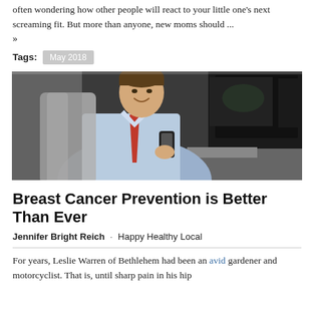often wondering how other people will react to your little one's next screaming fit. But more than anyone, new moms should ...
»
Tags: May 2018
[Figure (photo): A man in a blue shirt and red tie sitting in front of multiple computer monitors displaying medical images, holding a device, smiling at the camera.]
Breast Cancer Prevention is Better Than Ever
Jennifer Bright Reich · Happy Healthy Local
For years, Leslie Warren of Bethlehem had been an avid gardener and motorcyclist. That is, until sharp pain in his hip